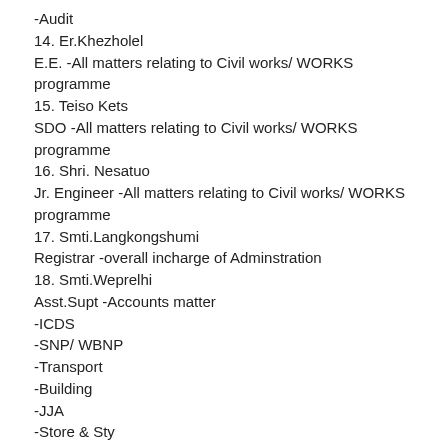-Audit
14. Er.Khezholel
E.E. -All matters relating to Civil works/ WORKS programme
15. Teiso Kets
SDO -All matters relating to Civil works/ WORKS programme
16. Shri. Nesatuo
Jr. Engineer -All matters relating to Civil works/ WORKS programme
17. Smti.Langkongshumi
Registrar -overall incharge of Adminstration
18. Smti.Weprelhi
Asst.Supt -Accounts matter
-ICDS
-SNP/ WBNP
-Transport
-Building
-JJA
-Store & Sty
-Meeting/ Training
19. Mrs.Mezhuviu